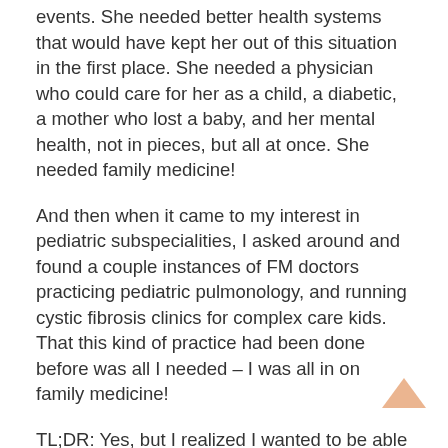events. She needed better health systems that would have kept her out of this situation in the first place. She needed a physician who could care for her as a child, a diabetic, a mother who lost a baby, and her mental health, not in pieces, but all at once. She needed family medicine!
And then when it came to my interest in pediatric subspecialities, I asked around and found a couple instances of FM doctors practicing pediatric pulmonology, and running cystic fibrosis clinics for complex care kids. That this kind of practice had been done before was all I needed – I was all in on family medicine!
TL;DR: Yes, but I realized I wanted to be able to take care of kids when they got pregnant or became young adults, too. When I realized that FM doctors can literally do anything, that you can create a practice